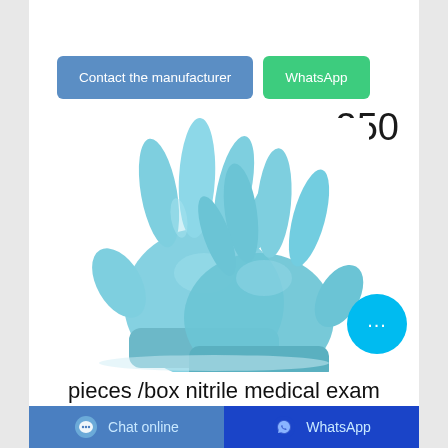Contact the manufacturer
WhatsApp
250
[Figure (photo): Two blue nitrile medical examination gloves shown on a white background, viewed from the front with fingers spread.]
pieces /box nitrile medical exam
Chat online    WhatsApp